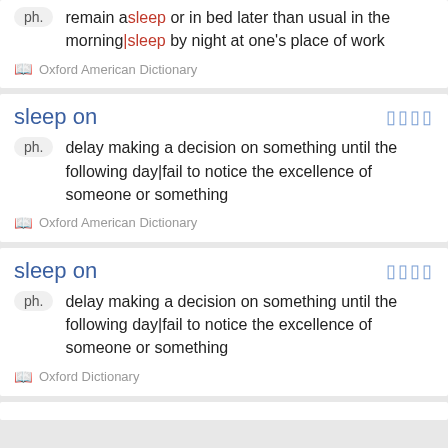remain asleep or in bed later than usual in the morning|sleep by night at one's place of work
Oxford American Dictionary
sleep on
delay making a decision on something until the following day|fail to notice the excellence of someone or something
Oxford American Dictionary
sleep on
delay making a decision on something until the following day|fail to notice the excellence of someone or something
Oxford Dictionary